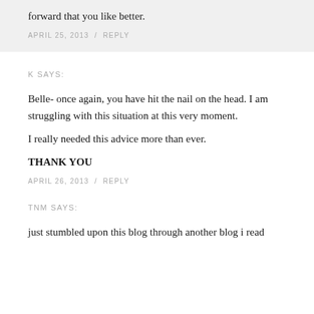forward that you like better.
APRIL 25, 2013  /  REPLY
K SAYS:
Belle- once again, you have hit the nail on the head. I am struggling with this situation at this very moment.
I really needed this advice more than ever.
THANK YOU
APRIL 26, 2013  /  REPLY
TNM SAYS:
just stumbled upon this blog through another blog i read